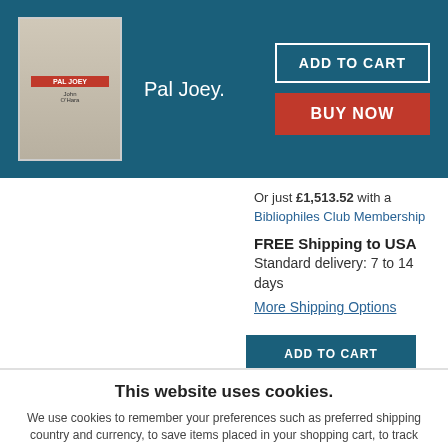[Figure (illustration): Book cover thumbnail for 'Pal Joey.' shown in teal header bar]
Pal Joey.
ADD TO CART
BUY NOW
Or just £1,513.52 with a Bibliophiles Club Membership
FREE Shipping to USA Standard delivery: 7 to 14 days More Shipping Options
ADD TO CART
This website uses cookies.
We use cookies to remember your preferences such as preferred shipping country and currency, to save items placed in your shopping cart, to track website visits referred from our advertising partners, and to analyze our website traffic. Manage your privacy settings.
AGREE AND CLOSE